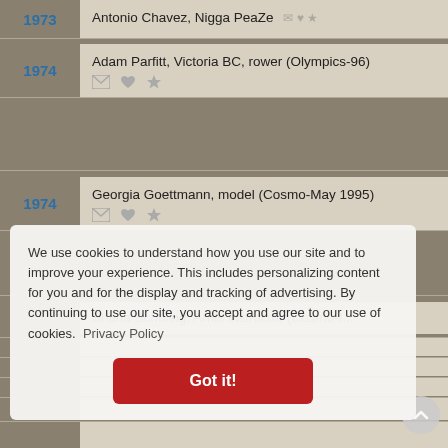1973 · Antonio Chavez, Nigga Peaze (icons)
1974 · Adam Parfitt, Victoria BC, rower (Olympics-96)
1974 · Georgia Goettmann, model (Cosmo-May 1995)
1974 · Shana Schuling, Arnis instructor (Cosmo-f...
We use cookies to understand how you use our site and to improve your experience. This includes personalizing content for you and for the display and tracking of advertising. By continuing to use our site, you accept and agree to our use of cookies. Privacy Policy
Got it!